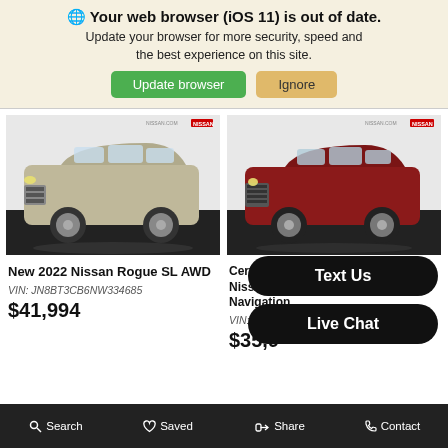🌐 Your web browser (iOS 11) is out of date. Update your browser for more security, speed and the best experience on this site.
Update browser | Ignore
[Figure (photo): Silver/gold Nissan Rogue SL AWD (2022) photographed in a showroom on a dark floor, three-quarter front view]
New 2022 Nissan Rogue SL AWD
VIN: JN8BT3CB6NW334685
$41,994
[Figure (photo): Red/maroon Nissan Rogue with Navigation package, certified pre-owned, photographed in a showroom, three-quarter front view]
Certified Pre-Owned Nissan Rogue with Navigation
VIN: 5N1AT2MT6LC774327
$35,9XX
Text Us
Live Chat
Search  Saved  Share  Contact